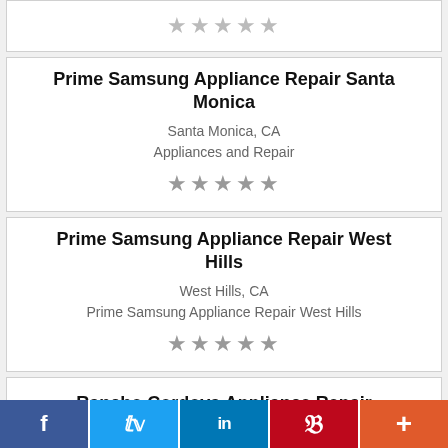[Figure (other): Star rating row (5 grey stars) — top stub of previous card]
Prime Samsung Appliance Repair Santa Monica
Santa Monica, CA
Appliances and Repair
[Figure (other): 5 grey star rating icons]
Prime Samsung Appliance Repair West Hills
West Hills, CA
Prime Samsung Appliance Repair West Hills
[Figure (other): 5 grey star rating icons]
Rancho Cordova Appliance Repair
Rancho Cordova, CA
[Figure (other): Social share bar with Facebook, Twitter, LinkedIn, Pinterest, and More buttons]